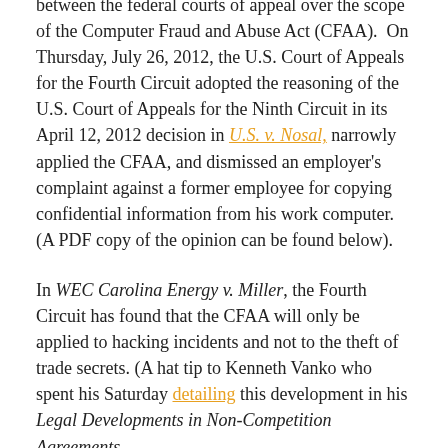between the federal courts of appeal over the scope of the Computer Fraud and Abuse Act (CFAA). On Thursday, July 26, 2012, the U.S. Court of Appeals for the Fourth Circuit adopted the reasoning of the U.S. Court of Appeals for the Ninth Circuit in its April 12, 2012 decision in U.S. v. Nosal, narrowly applied the CFAA, and dismissed an employer's complaint against a former employee for copying confidential information from his work computer. (A PDF copy of the opinion can be found below).
In WEC Carolina Energy v. Miller, the Fourth Circuit has found that the CFAA will only be applied to hacking incidents and not to the theft of trade secrets. (A hat tip to Kenneth Vanko who spent his Saturday detailing this development in his Legal Developments in Non-Competition Agreements